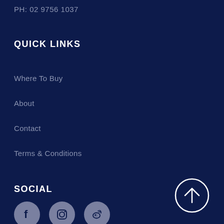PH: 02 9756 1037
QUICK LINKS
Where To Buy
About
Contact
Terms & Conditions
SOCIAL
[Figure (other): Back to top arrow button - circle with upward arrow]
[Figure (other): Social media icons row: Facebook, Instagram, Weibo]